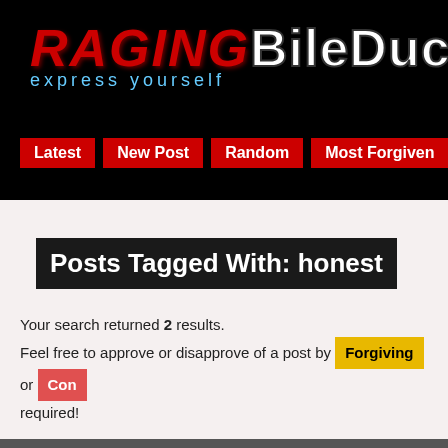[Figure (screenshot): RagingBileDuct website header with logo showing RAGING in red and BileDuct in white on black background, with tagline 'express yourself' in light blue]
Latest | New Post | Random | Most Forgiven | Most Co...
Posts Tagged With: honest
Your search returned 2 results. Feel free to approve or disapprove of a post by Forgiving or Condemning it. No registration required!
Got something to say? Post Now! It's totally anonymous... rant o...
Mess 14 26
My mom just had quadruple bypass surgery and I honestly, with every part of me, wish she would have died during the procedure. Everything wen... that she's a different person and not one that we can live with. She...